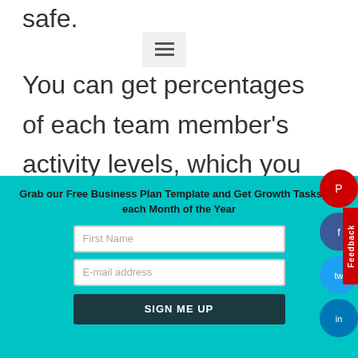safe.
[Figure (other): Hamburger/menu icon button]
You can get percentages of each team member's activity levels, which you can use to deduce productivity levels.
Just remember that the productivity le
Grab our Free Business Plan Template and Get Growth Tasks for each Month of the Year
First Name
E-mail address
SIGN ME UP
[Figure (other): Social media sidebar buttons: Pinterest (red circle), Facebook (dark blue circle), Twitter (blue circle), LinkedIn (blue circle), and a red Feedback tab]